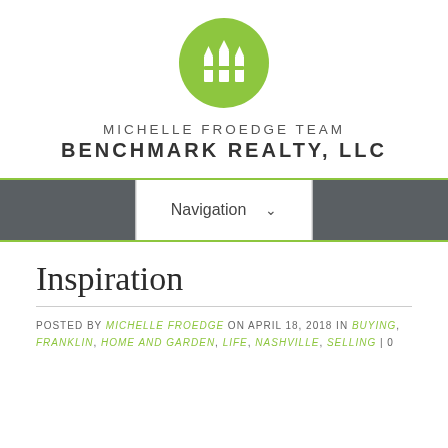[Figure (logo): Green circle logo with white picket fence / crown icon — Michelle Froedge Team Benchmark Realty]
MICHELLE FROEDGE TEAM BENCHMARK REALTY, LLC
Navigation ▼
Inspiration
POSTED BY MICHELLE FROEDGE ON APRIL 18, 2018 IN BUYING, FRANKLIN, HOME AND GARDEN, LIFE, NASHVILLE, SELLING | 0